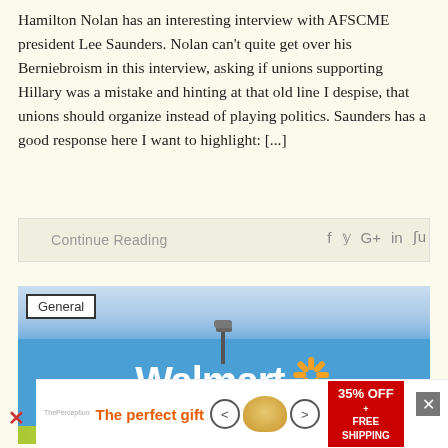Hamilton Nolan has an interesting interview with AFSCME president Lee Saunders. Nolan can't quite get over his Berniebroism in this interview, asking if unions supporting Hillary was a mistake and hinting at that old line I despise, that unions should organize instead of playing politics. Saunders has a good response here I want to highlight: [...]
Continue Reading
[Figure (photo): Photo of a Walmart store exterior showing the blue building with the Walmart logo and tagline 'Save money. Live better.' A lamp post is visible and there appears to be a banner or sign. A 'General' category badge is overlaid in the top left.]